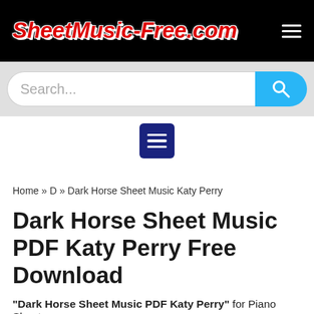SheetMusic-Free.com
[Figure (screenshot): Search bar with blue search button and hamburger menu icon]
Home » D » Dark Horse Sheet Music Katy Perry
Dark Horse Sheet Music PDF Katy Perry Free Download
"Dark Horse Sheet Music PDF Katy Perry" for Piano Sheet